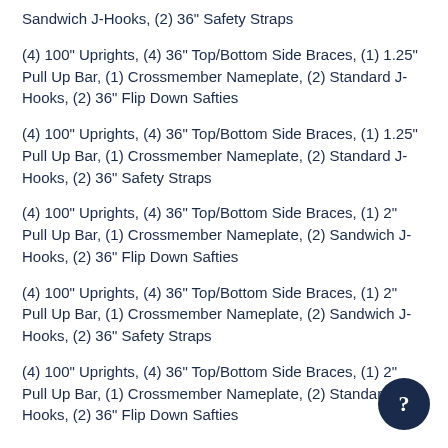Sandwich J-Hooks, (2) 36" Safety Straps
(4) 100" Uprights, (4) 36" Top/Bottom Side Braces, (1) 1.25" Pull Up Bar, (1) Crossmember Nameplate, (2) Standard J-Hooks, (2) 36" Flip Down Safties
(4) 100" Uprights, (4) 36" Top/Bottom Side Braces, (1) 1.25" Pull Up Bar, (1) Crossmember Nameplate, (2) Standard J-Hooks, (2) 36" Safety Straps
(4) 100" Uprights, (4) 36" Top/Bottom Side Braces, (1) 2" Pull Up Bar, (1) Crossmember Nameplate, (2) Sandwich J-Hooks, (2) 36" Flip Down Safties
(4) 100" Uprights, (4) 36" Top/Bottom Side Braces, (1) 2" Pull Up Bar, (1) Crossmember Nameplate, (2) Sandwich J-Hooks, (2) 36" Safety Straps
(4) 100" Uprights, (4) 36" Top/Bottom Side Braces, (1) 2" Pull Up Bar, (1) Crossmember Nameplate, (2) Standard J-Hooks, (2) 36" Flip Down Safties